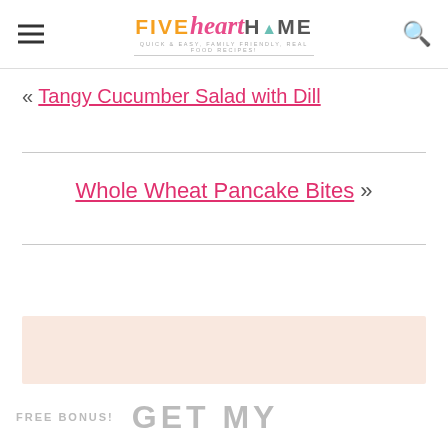FIVE heart HOME - QUICK & EASY, FAMILY FRIENDLY, REAL FOOD RECIPES!
« Tangy Cucumber Salad with Dill
Whole Wheat Pancake Bites »
FREE BONUS! GET MY